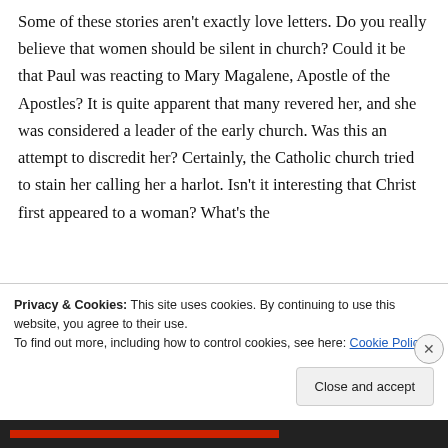Some of these stories aren't exactly love letters. Do you really believe that women should be silent in church? Could it be that Paul was reacting to Mary Magalene, Apostle of the Apostles? It is quite apparent that many revered her, and she was considered a leader of the early church. Was this an attempt to discredit her? Certainly, the Catholic church tried to stain her calling her a harlot. Isn't it interesting that Christ first appeared to a woman? What's the
Privacy & Cookies: This site uses cookies. By continuing to use this website, you agree to their use.
To find out more, including how to control cookies, see here: Cookie Policy
Close and accept